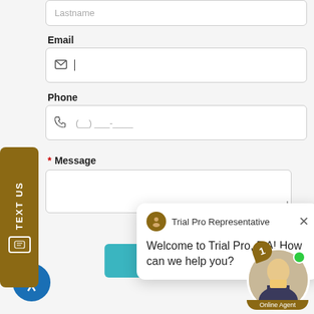Lastname
Email
Phone
* Message
TEXT US
Trial Pro Representative
Welcome to Trial Pro, P.A! How can we help you?
Submit
1
Online Agent